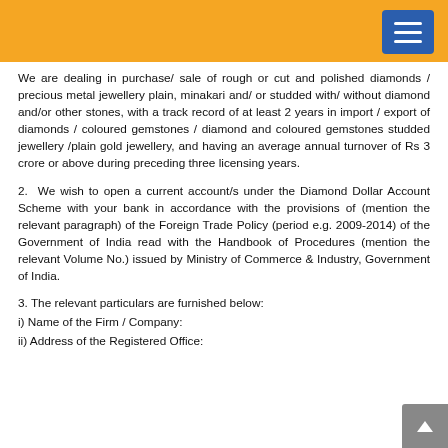We are dealing in purchase/ sale of rough or cut and polished diamonds / precious metal jewellery plain, minakari and/ or studded with/ without diamond and/or other stones, with a track record of at least 2 years in import / export of diamonds / coloured gemstones / diamond and coloured gemstones studded jewellery /plain gold jewellery, and having an average annual turnover of Rs 3 crore or above during preceding three licensing years.
2. We wish to open a current account/s under the Diamond Dollar Account Scheme with your bank in accordance with the provisions of (mention the relevant paragraph) of the Foreign Trade Policy (period e.g. 2009-2014) of the Government of India read with the Handbook of Procedures (mention the relevant Volume No.) issued by Ministry of Commerce & Industry, Government of India.
3. The relevant particulars are furnished below:
i) Name of the Firm / Company:
ii) Address of the Registered Office: